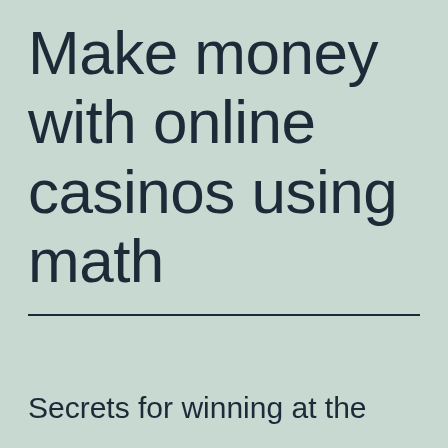Make money with online casinos using math
Secrets for winning at the